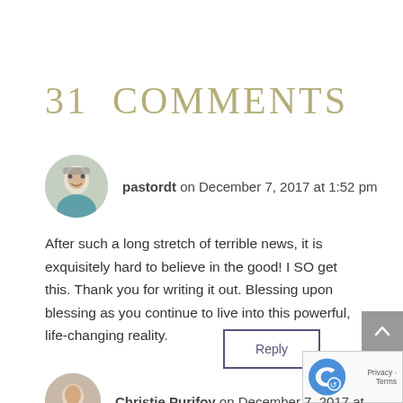31 COMMENTS
pastordt on December 7, 2017 at 1:52 pm
After such a long stretch of terrible news, it is exquisitely hard to believe in the good! I SO get this. Thank you for writing it out. Blessing upon blessing as you continue to live into this powerful, life-changing reality.
Reply
Christie Purifoy on December 7, 2017 at